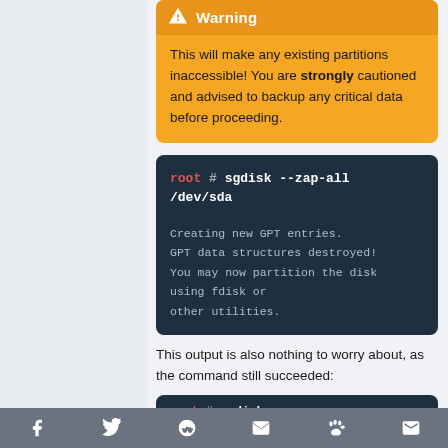Warning: This will make any existing partitions inaccessible! You are strongly cautioned and advised to backup any critical data before proceeding.
root # sgdisk --zap-all /dev/sda

Creating new GPT entries.
GPT data structures destroyed!
You may now partition the disk using fdisk or other utilities.
This output is also nothing to worry about, as the command still succeeded:
Social sharing bar: Facebook, Twitter, Reddit, Email, Paw, Gmail